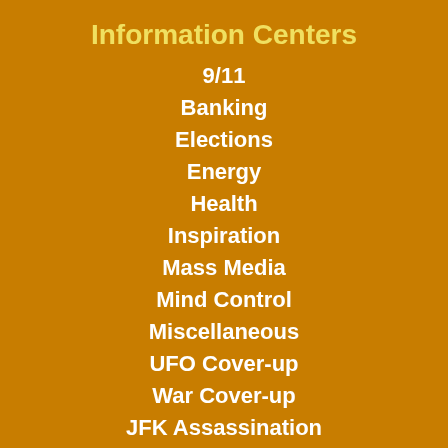Information Centers
9/11
Banking
Elections
Energy
Health
Inspiration
Mass Media
Mind Control
Miscellaneous
UFO Cover-up
War Cover-up
JFK Assassination
News Archive
Online Store